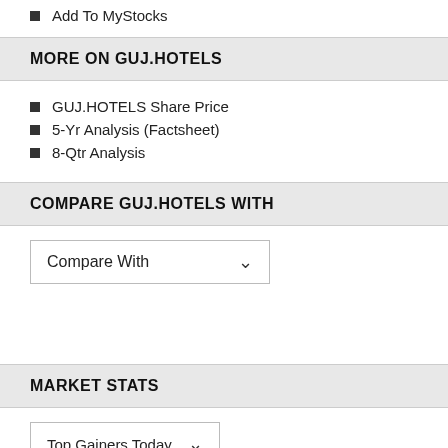Add To MyStocks
MORE ON GUJ.HOTELS
GUJ.HOTELS Share Price
5-Yr Analysis (Factsheet)
8-Qtr Analysis
COMPARE GUJ.HOTELS WITH
Compare With
MARKET STATS
Top Gainers Today